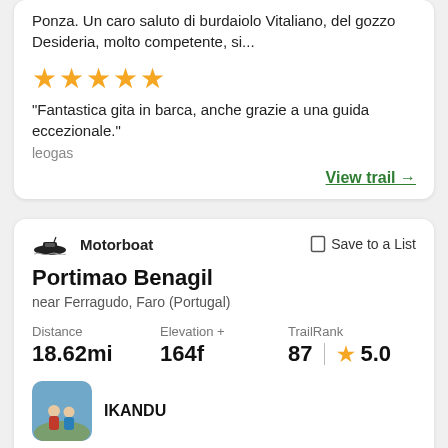Ponza. Un caro saluto di burdaiolo Vitaliano, del gozzo Desideria, molto competente, si...
[Figure (other): Five gold star rating icons]
"Fantastica gita in barca, anche grazie a una guida eccezionale."
leogas
View trail →
[Figure (other): Motorboat icon]
Motorboat
Save to a List
Portimao Benagil
near Ferragudo, Faro (Portugal)
Distance
18.62mi
Elevation +
164f
TrailRank
87  ★ 5.0
[Figure (photo): User profile photo showing two people standing on a mountain top]
IKANDU
[Figure (photo): Two landscape thumbnail photos at the bottom of the card]